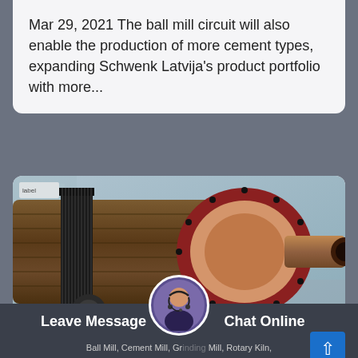Mar 29, 2021 The ball mill circuit will also enable the production of more cement types, expanding Schwenk Latvija's product portfolio with more...
[Figure (photo): Industrial ball mill machinery showing a large cylindrical drum with gear ring and drive shaft, photographed in a factory setting]
th ball mill manufacturer in tajikistan
Leave Message   Chat Online   Ball Mill, Cement Mill, Grinding Mill, Rotary Kiln,